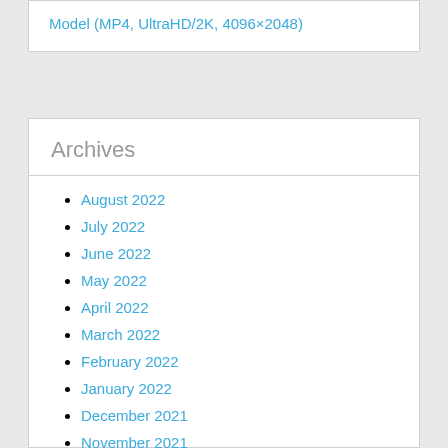Model (MP4, UltraHD/2K, 4096×2048)
Archives
August 2022
July 2022
June 2022
May 2022
April 2022
March 2022
February 2022
January 2022
December 2021
November 2021
October 2021
September 2021
August 2021